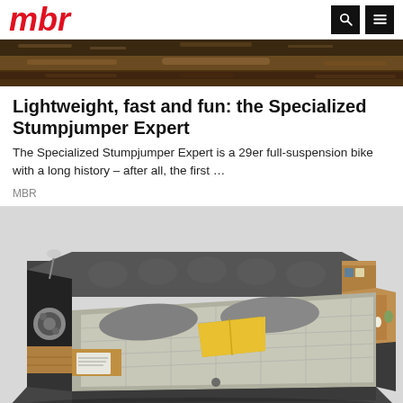mbr
[Figure (photo): Top strip photo showing a trail/dirt path from above, brown earthy tones]
Lightweight, fast and fun: the Specialized Stumpjumper Expert
The Specialized Stumpjumper Expert is a 29er full-suspension bike with a long history – after all, the first …
MBR
[Figure (photo): Photo of a large modern upholstered bed with gray fabric, yellow pillow, built-in wooden side shelves with small decorations, and integrated speakers/lighting on the left headboard side]